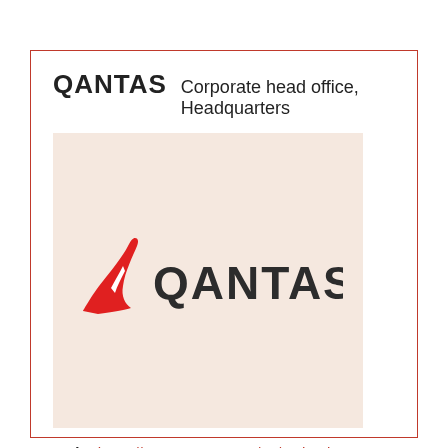QANTAS Corporate head office, Headquarters
[Figure (logo): Qantas airline logo on a beige/cream background — red kangaroo tail fin icon on the left and bold dark text QANTAS on the right]
Web : https://www.qantas.com/au/en.html
Phone Number : (02) 96813636